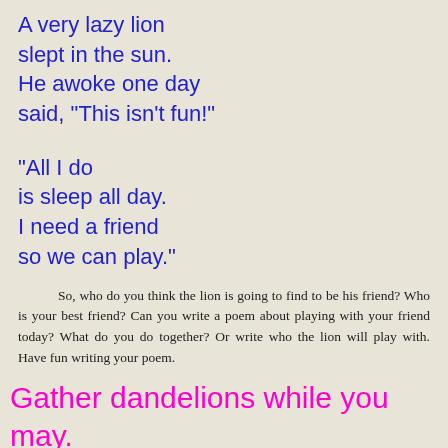A very lazy lion
slept in the sun.
He awoke one day
said, "This isn't fun!"
"All I do
is sleep all day.
I need a friend
so we can play."
So, who do you think the lion is going to find to be his friend?  Who is your best friend?  Can you write a poem about playing with your friend today?  What do you do together?  Or write who the lion will play with.  Have fun writing your poem.
Gather dandelions while you may.
Tomorrow their seeds may slip away.
...